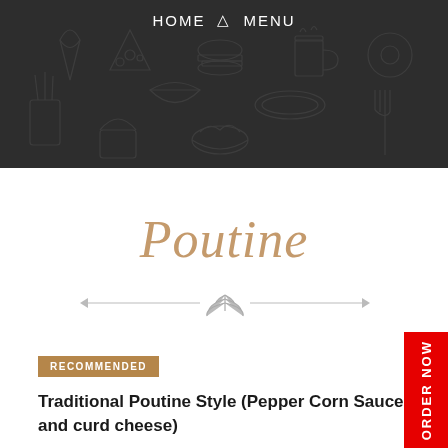HOME  MENU
[Figure (illustration): Dark background header with food pattern illustration (doodles of various food items in dark grey on dark background)]
Poutine
[Figure (other): Decorative horizontal divider with arrows and central agave/plant ornament in grey]
RECOMMENDED
Traditional Poutine Style (Pepper Corn Sauce and curd cheese)